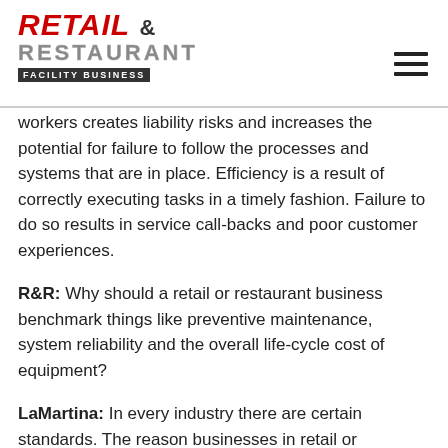RETAIL & RESTAURANT FACILITY BUSINESS
workers creates liability risks and increases the potential for failure to follow the processes and systems that are in place. Efficiency is a result of correctly executing tasks in a timely fashion. Failure to do so results in service call-backs and poor customer experiences.
R&R: Why should a retail or restaurant business benchmark things like preventive maintenance, system reliability and the overall life-cycle cost of equipment?
LaMartina: In every industry there are certain standards. The reason businesses in retail or foodservice should benchmark areas such as preventive maintenance, system reliability or the life cycle of equipment is to measure performance. There is inherent value in being able to